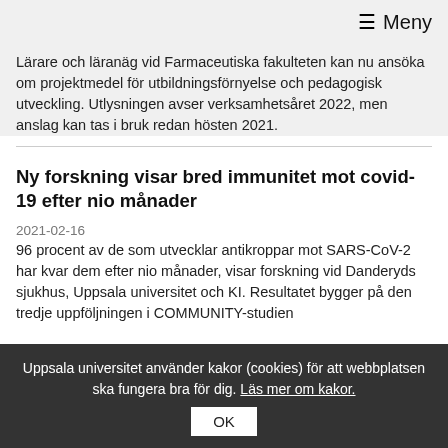≡ Meny
Lärare och läranäg vid Farmaceutiska fakulteten kan nu ansöka om projektmedel för utbildningsförnyelse och pedagogisk utveckling. Utlysningen avser verksamhetsåret 2022, men anslag kan tas i bruk redan hösten 2021.
Ny forskning visar bred immunitet mot covid-19 efter nio månader
2021-02-16
96 procent av de som utvecklar antikroppar mot SARS-CoV-2 har kvar dem efter nio månader, visar forskning vid Danderyds sjukhus, Uppsala universitet och KI. Resultatet bygger på den tredje uppföljningen i COMMUNITY-studien
Uppsala universitet använder kakor (cookies) för att webbplatsen ska fungera bra för dig. Läs mer om kakor. OK